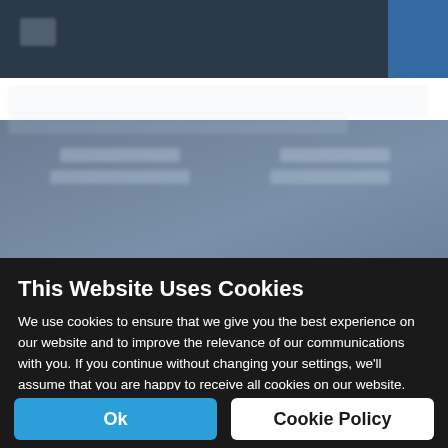[Figure (screenshot): Blurred website background showing a dark navigation bar at the top, a search/navigation row below, and blurred content cards with text in the main area. A blue accent area is visible at the top right. The background is partially obscured by the cookie consent overlay.]
This Website Uses Cookies
We use cookies to ensure that we give you the best experience on our website and to improve the relevance of our communications with you. If you continue without changing your settings, we'll assume that you are happy to receive all cookies on our website. However, if you would like to, you can change your cookie settings at any time. You can find detailed information about how cookies are used on this website by clicking Cookie Policy.
Ok
Cookie Policy